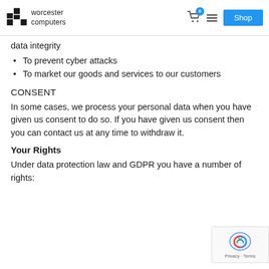worcester computers
data integrity
To prevent cyber attacks
To market our goods and services to our customers
CONSENT
In some cases, we process your personal data when you have given us consent to do so. If you have given us consent then you can contact us at any time to withdraw it.
Your Rights
Under data protection law and GDPR you have a number of rights: